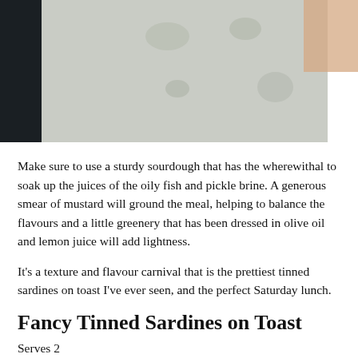[Figure (photo): Close-up photo of a food preparation surface with stains/marks, dark strip on the left edge and a peach/skin-toned corner at top right]
Make sure to use a sturdy sourdough that has the wherewithal to soak up the juices of the oily fish and pickle brine. A generous smear of mustard will ground the meal, helping to balance the flavours and a little greenery that has been dressed in olive oil and lemon juice will add lightness.
It’s a texture and flavour carnival that is the prettiest tinned sardines on toast I’ve ever seen, and the perfect Saturday lunch.
Fancy Tinned Sardines on Toast
Serves 2